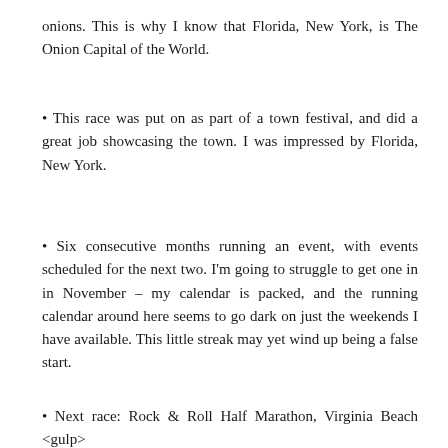onions. This is why I know that Florida, New York, is The Onion Capital of the World.
• This race was put on as part of a town festival, and did a great job showcasing the town. I was impressed by Florida, New York.
• Six consecutive months running an event, with events scheduled for the next two. I'm going to struggle to get one in in November – my calendar is packed, and the running calendar around here seems to go dark on just the weekends I have available. This little streak may yet wind up being a false start.
• Next race: Rock & Roll Half Marathon, Virginia Beach <gulp>